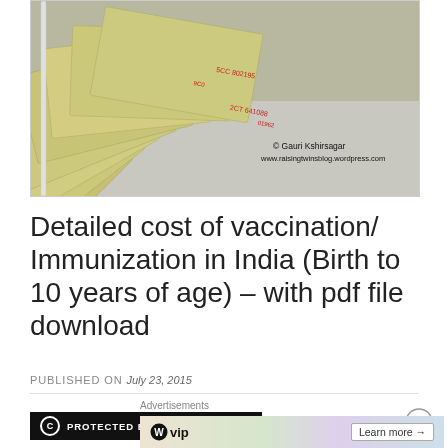[Figure (photo): Fan of Indian Rupee banknotes spread out on a surface. Watermark text: © Gauri Kshirsagar www.raisingtwinsblog.wordpress.com]
Detailed cost of vaccination/ Immunization in India (Birth to 10 years of age) – with pdf file download
PUBLISHED ON July 23, 2015
[Figure (other): Protected by Copyscape badge (black bar with white text)]
Advertisements
[Figure (other): WordPress VIP advertisement banner with Learn more button]